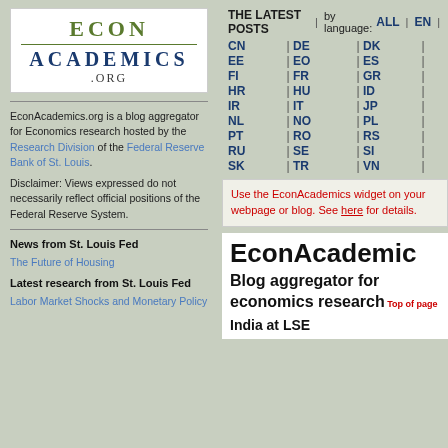[Figure (logo): EconAcademics.org logo with green ECON text and blue ACADEMICS text]
EconAcademics.org is a blog aggregator for Economics research hosted by the Research Division of the Federal Reserve Bank of St. Louis.
Disclaimer: Views expressed do not necessarily reflect official positions of the Federal Reserve System.
News from St. Louis Fed
The Future of Housing
Latest research from St. Louis Fed
Labor Market Shocks and Monetary Policy
THE LATEST POSTS | by language: ALL | EN | CN | DE | DK | EE | EO | ES | FI | FR | GR | HR | HU | ID | IR | IT | JP | NL | NO | PL | PT | RO | RS | RU | SE | SI | SK | TR | VN
Use the EconAcademics widget on your webpage or blog. See here for details.
EconAcademics
Blog aggregator for economics research
India at LSE